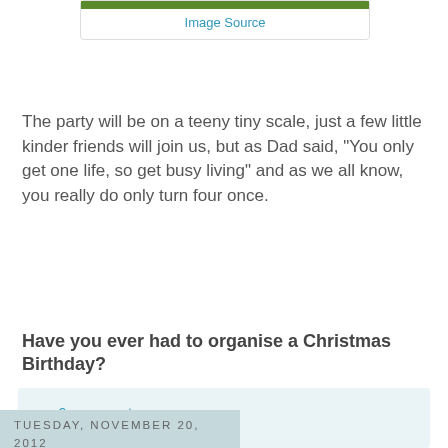[Figure (other): Green bar at top of image box with Image Source link below]
Image Source
The party will be on a teeny tiny scale, just a few little kinder friends will join us, but as Dad said, "You only get one life, so get busy living" and as we all know, you really do only turn four once.
Have you ever had to organise a Christmas Birthday?
6 comments:
Tuesday, November 20, 2012